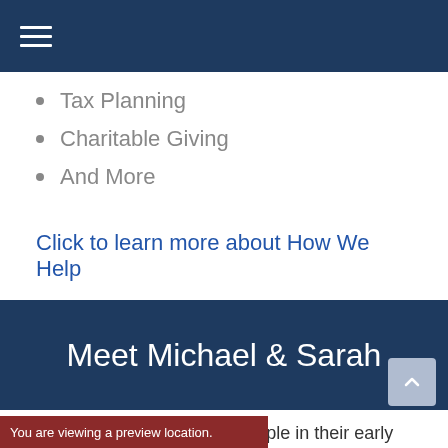Navigation menu
Tax Planning
Charitable Giving
And More
Click to learn more about How We Help
Meet Michael & Sarah
Michael and Sarah are a couple in their early 30s. Michael is a ... nd shareholder at a law
You are viewing a preview location.